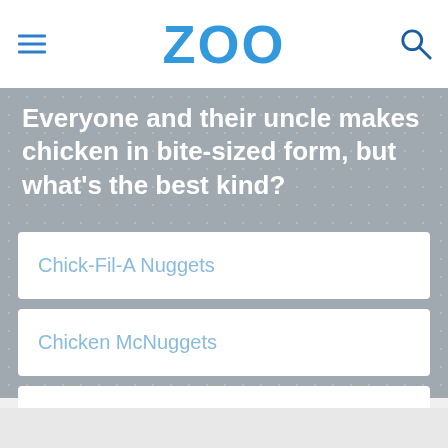ZOO
Everyone and their uncle makes chicken in bite-sized form, but what's the best kind?
Chick-Fil-A Nuggets
Chicken McNuggets
Arby's Chicken Tenders